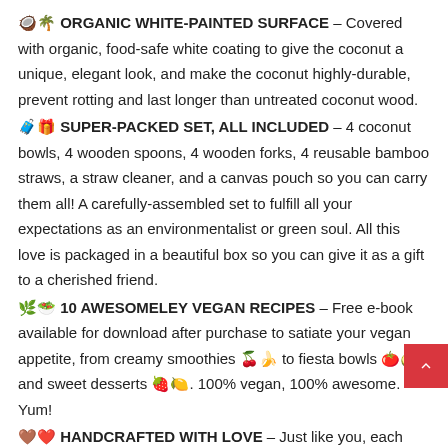🥥🌴 ORGANIC WHITE-PAINTED SURFACE – Covered with organic, food-safe white coating to give the coconut a unique, elegant look, and make the coconut highly-durable, prevent rotting and last longer than untreated coconut wood.
🧳🎁 SUPER-PACKED SET, ALL INCLUDED – 4 coconut bowls, 4 wooden spoons, 4 wooden forks, 4 reusable bamboo straws, a straw cleaner, and a canvas pouch so you can carry them all! A carefully-assembled set to fulfill all your expectations as an environmentalist or green soul. All this love is packaged in a beautiful box so you can give it as a gift to a cherished friend.
🌿🥗 10 AWESOMELEY VEGAN RECIPES – Free e-book available for download after purchase to satiate your vegan appetite, from creamy smoothies 🍒🍌 to fiesta bowls 🍅🥑 and sweet desserts 🍓🍋. 100% vegan, 100% awesome. Yum!
🤎❤️ HANDCRAFTED WITH LOVE – Just like you, each coconut bowl is unique and is unlike any other. Each coconut is created by nature and then sanded, treated, painted and